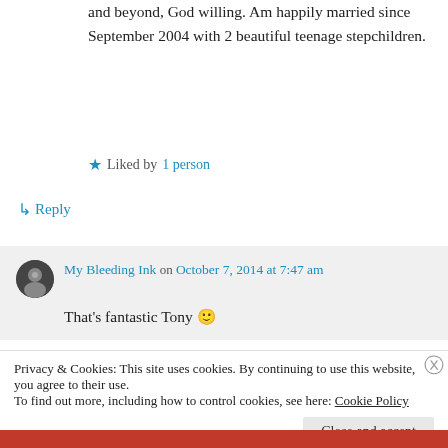and beyond, God willing. Am happily married since September 2004 with 2 beautiful teenage stepchildren.
★ Liked by 1 person
↳ Reply
My Bleeding Ink on October 7, 2014 at 7:47 am
That's fantastic Tony 🙂
Privacy & Cookies: This site uses cookies. By continuing to use this website, you agree to their use. To find out more, including how to control cookies, see here: Cookie Policy
Close and accept